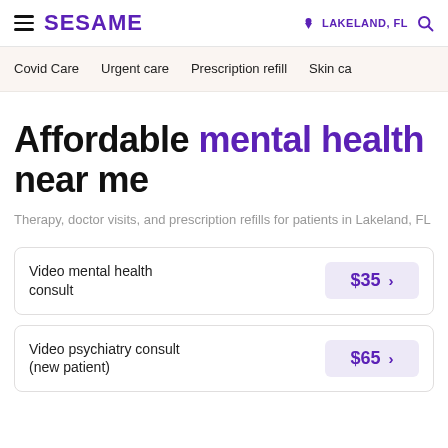SESAME | LAKELAND, FL
Covid Care
Urgent care
Prescription refill
Skin care
Affordable mental health near me
Therapy, doctor visits, and prescription refills for patients in Lakeland, FL
Video mental health consult $35 >
Video psychiatry consult (new patient) $65 >